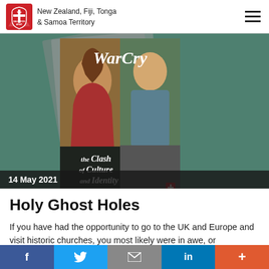New Zealand, Fiji, Tonga & Samoa Territory
[Figure (photo): WarCry magazine covers fanned out on a green background. The cover features text 'WarCry' and 'the Clash of Culture and Identity' with images of Jesus, a smiling young man, and other people.]
14 May 2021
Holy Ghost Holes
If you have had the opportunity to go to the UK and Europe and visit historic churches, you most likely were in awe, or
f  Twitter  Email  in  +